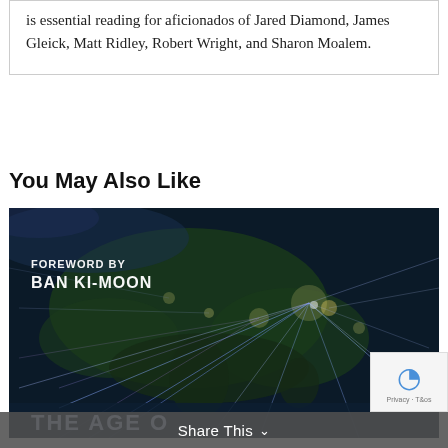is essential reading for aficionados of Jared Diamond, James Gleick, Matt Ridley, Robert Wright, and Sharon Moalem.
You May Also Like
[Figure (photo): Book cover image showing a nighttime satellite view of Asia with glowing network lines overlaid. Text reads 'FOREWORD BY BAN KI-MOON' and at the bottom 'THE AGE O...' on a dark background.]
Share This